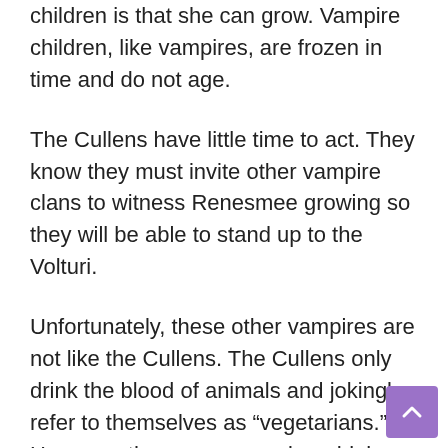children is that she can grow. Vampire children, like vampires, are frozen in time and do not age.
The Cullens have little time to act. They know they must invite other vampire clans to witness Renesmee growing so they will be able to stand up to the Volturi.
Unfortunately, these other vampires are not like the Cullens. The Cullens only drink the blood of animals and jokingly refer to themselves as “vegetarians.” However, these new vampires drink human blood, which upsets the werewolves. The werewolves’ duty is to protect the people of Forks from vampires. However, the werewolves cannot hurt the newcomers because Jacob imprinted on Renesmee, and